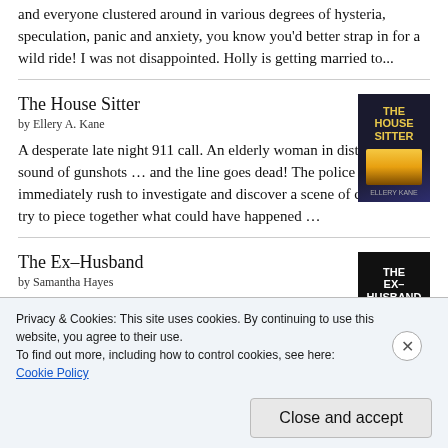and everyone clustered around in various degrees of hysteria, speculation, panic and anxiety, you know you'd better strap in for a wild ride! I was not disappointed. Holly is getting married to...
The House Sitter
by Ellery A. Kane
A desperate late night 911 call. An elderly woman in distress. The sound of gunshots ... and the line goes dead! The police immediately rush to investigate and discover a scene of chaos. They try to piece together what could have happened ...
The Ex-Husband
by Samantha Hayes
Ooooooh ... a new Samantha Hayes book! And it's as much of a roller-coaster ride as you'd expect from the Thriller Queen! Leah is
Privacy & Cookies: This site uses cookies. By continuing to use this website, you agree to their use.
To find out more, including how to control cookies, see here: Cookie Policy
Close and accept